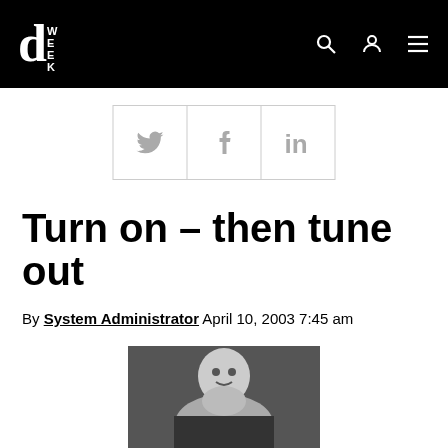dWEEK
[Figure (screenshot): Social share buttons row: Twitter, Facebook, LinkedIn]
Turn on – then tune out
By System Administrator April 10, 2003 7:45 am
[Figure (photo): Black and white portrait photo of a man smiling slightly]